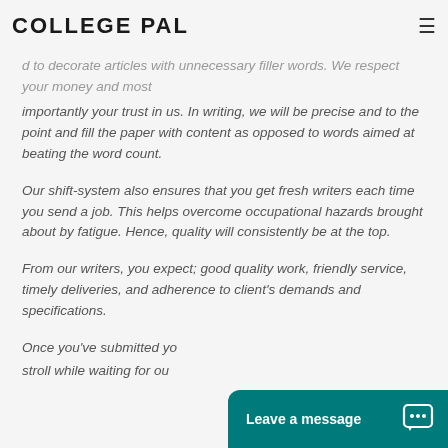COLLEGE PAL
d to decorate articles with unnecessary filler words. We respect your money and most importantly your trust in us. In writing, we will be precise and to the point and fill the paper with content as opposed to words aimed at beating the word count.
Our shift-system also ensures that you get fresh writers each time you send a job. This helps overcome occupational hazards brought about by fatigue. Hence, quality will consistently be at the top.
From our writers, you expect; good quality work, friendly service, timely deliveries, and adherence to client's demands and specifications.
Once you've submitted yo… stroll while waiting for ou…